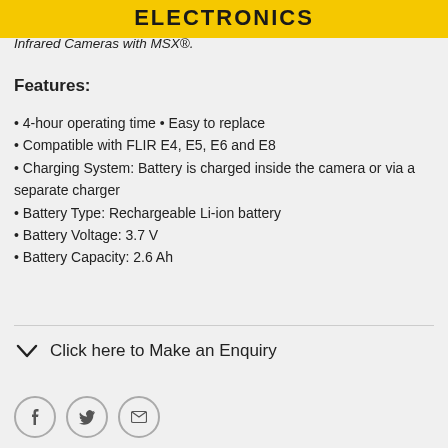ELECTRONICS
Infrared Cameras with MSX®.
Features:
4-hour operating time • Easy to replace
Compatible with FLIR E4, E5, E6 and E8
Charging System: Battery is charged inside the camera or via a separate charger
Battery Type: Rechargeable Li-ion battery
Battery Voltage: 3.7 V
Battery Capacity: 2.6 Ah
Click here to Make an Enquiry